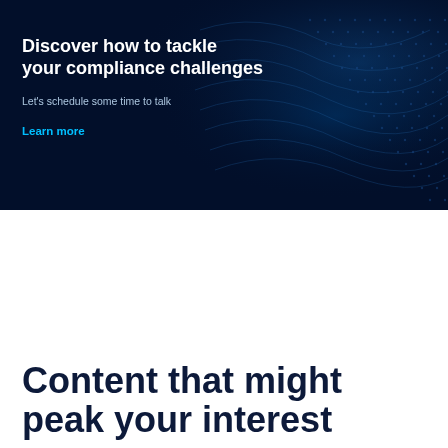[Figure (other): Dark navy blue banner advertisement with wave/particle effect on the right side, containing headline text 'Discover how to tackle your compliance challenges', subtext 'Let's schedule some time to talk', and a cyan 'Learn more' link.]
Content that might peak your interest